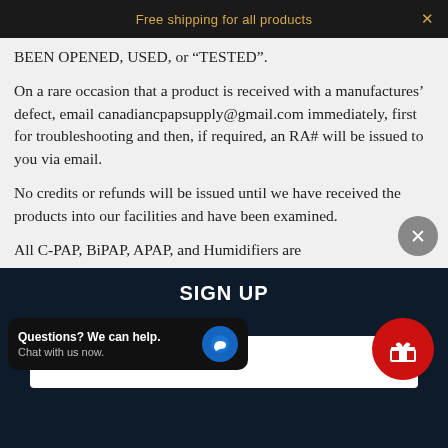Free shipping for all products
BEEN OPENED, USED, or “TESTED”.
On a rare occasion that a product is received with a manufactures’ defect, email canadiancpapsupply@gmail.com immediately, first for troubleshooting and then, if required, an RA# will be issued to you via email.
No credits or refunds will be issued until we have received the products into our facilities and have been examined.
All C-PAP, BiPAP, APAP, and Humidifiers are
SIGN UP
SUBSCRIBE
Questions? We can help. Chat with us now.